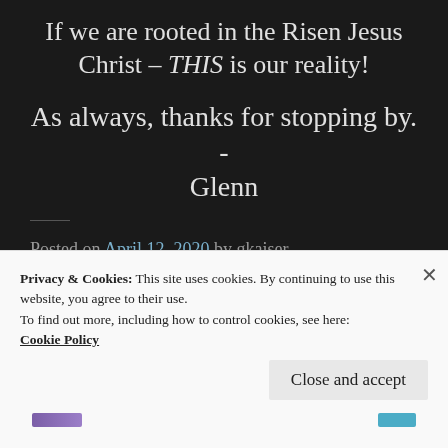If we are rooted in the Risen Jesus Christ – THIS is our reality!
As always, thanks for stopping by. - Glenn
Posted on April 12, 2020 by gkaiser
2 Comments
Privacy & Cookies: This site uses cookies. By continuing to use this website, you agree to their use.
To find out more, including how to control cookies, see here: Cookie Policy
Close and accept